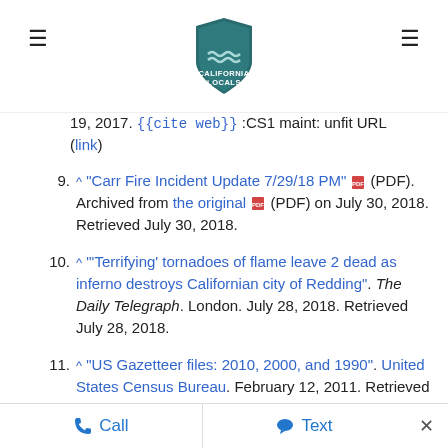California Locals logo with hamburger menus
19, 2017. {{cite web}} :CS1 maint: unfit URL (link)
9. ^ "Carr Fire Incident Update 7/29/18 PM" (PDF). Archived from the original (PDF) on July 30, 2018. Retrieved July 30, 2018.
10. ^ "'Terrifying' tornadoes of flame leave 2 dead as inferno destroys Californian city of Redding". The Daily Telegraph. London. July 28, 2018. Retrieved July 28, 2018.
11. ^ "US Gazetteer files: 2010, 2000, and 1990". United States Census Bureau. February 12, 2011. Retrieved April 23, 2011.
Call  Text  ×